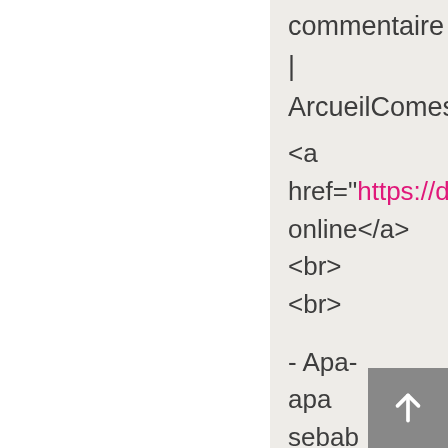commentaire
|
ArcueilComestib
<a href="https://drugdea... online</a> <br> <br>
- Apa-apa sebab kau harus sajian